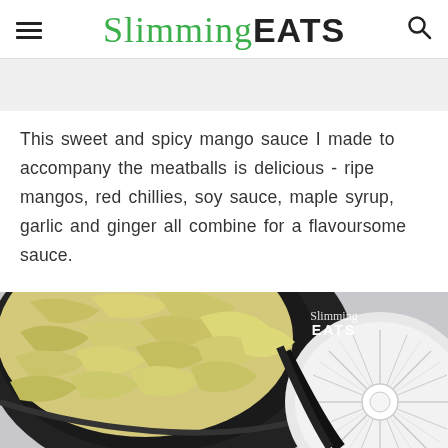Slimming EATS
This sweet and spicy mango sauce I made to accompany the meatballs is delicious - ripe mangos, red chillies, soy sauce, maple syrup, garlic and ginger all combine for a flavoursome sauce.
[Figure (photo): Close-up overhead photo of a dark bowl filled with cooked cabbage or noodles, partially overlapping a decorative plate with a starburst pattern, on a light gray background. Slimming EATS watermark visible in upper right of photo.]